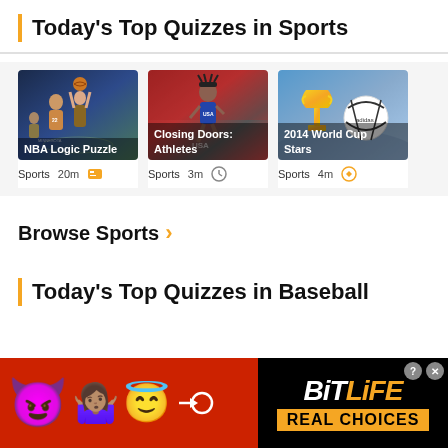Today's Top Quizzes in Sports
[Figure (photo): NBA basketball player shooting ball overhead in arena]
NBA Logic Puzzle
Sports   20m
[Figure (photo): Female track athlete running in USA uniform]
Closing Doors: Athletes
Sports   3m
[Figure (photo): 2014 World Cup trophy and soccer ball against blue sky]
2014 World Cup Stars
Sports   4m
Browse Sports
Today's Top Quizzes in Baseball
[Figure (advertisement): BitLife app advertisement with emoji characters and 'REAL CHOICES' text on red background]